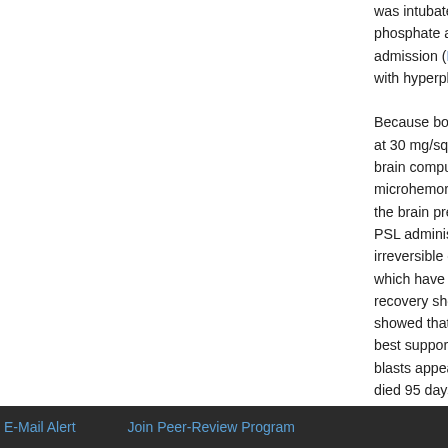was intubated immediately. phosphate and creatinine admission (Figure 2). The with hyperphosphatemia. Because both phosphate at 30 mg/sqm/day was re brain computed tomogr microhemorrhage in the c the brain pressure. The c PSL administration perio irreversible cerebral dysfu which have nourotoxicity v recovery showed morpho showed that cerebral cort best support of care was blasts appeared again 73 died 95 days after being a
Top
ABSTRACT
Introduction
Case Presentation
Discussion
Conclusion
E-Mail Alert    Join Peer-Review Program